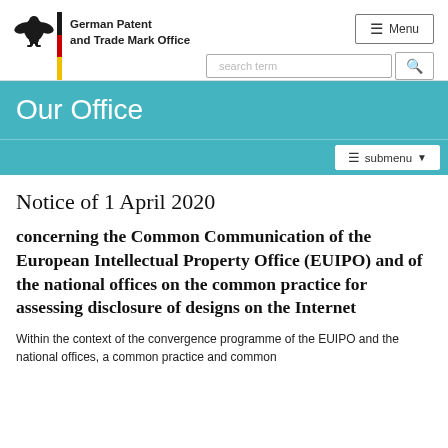[Figure (logo): German Patent and Trade Mark Office logo with eagle, German flag bar, and office name text]
German Patent and Trade Mark Office — Menu / search term navigation bar
Our Office
Notice of 1 April 2020
concerning the Common Communication of the European Intellectual Property Office (EUIPO) and of the national offices on the common practice for assessing disclosure of designs on the Internet
Within the context of the convergence programme of the EUIPO and the national offices, a common practice and common